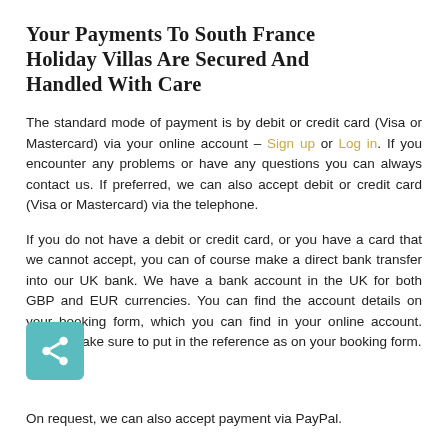Your payments to South France Holiday Villas are secured and handled with care
The standard mode of payment is by debit or credit card (Visa or Mastercard) via your online account – Sign up or Log in. If you encounter any problems or have any questions you can always contact us. If preferred, we can also accept debit or credit card (Visa or Mastercard) via the telephone.
If you do not have a debit or credit card, or you have a card that we cannot accept, you can of course make a direct bank transfer into our UK bank. We have a bank account in the UK for both GBP and EUR currencies. You can find the account details on your booking form, which you can find in your online account. Please make sure to put in the reference as on your booking form.
On request, we can also accept payment via PayPal.